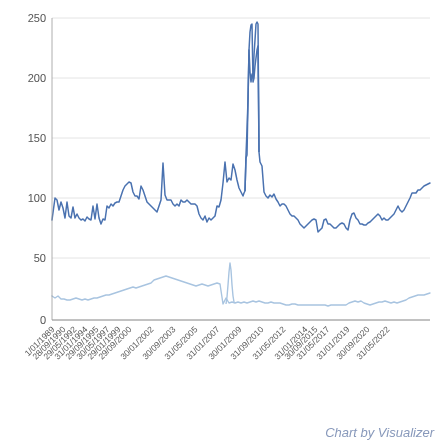[Figure (continuous-plot): A time-series line chart showing two data series (dark blue and light blue) from 01/01/1989 to 31/05/2022. The dark blue series fluctuates between roughly 50 and 220, with a major spike around 30/01/2009 reaching ~215. The light blue series stays mostly between 0 and 50, with a spike around 2009 reaching ~60. Y-axis labeled 0, 50, 100, 150, 200, 250. X-axis shows dates at intervals.]
Chart by Visualizer